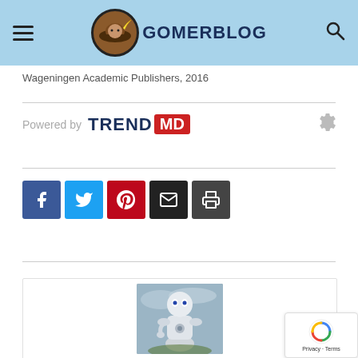GomerBlog
Wageningen Academic Publishers, 2016
[Figure (logo): TrendMD powered-by logo with gear icon]
[Figure (infographic): Social sharing buttons: Like 5 (Facebook like), Facebook, Twitter, Pinterest, Email, Print]
[Figure (photo): Article card with a robot/AI humanoid figure image, partially visible]
[Figure (other): reCAPTCHA badge with Privacy and Terms links]